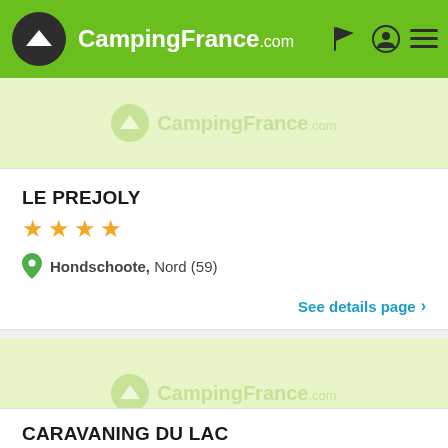CampingFrance.com
[Figure (logo): CampingFrance.com watermark logo on light green background]
LE PREJOLY
★★★★ (4 stars)
Hondschoote, Nord (59)
See details page >
[Figure (logo): CampingFrance.com watermark logo on light green background]
CARAVANING DU LAC
★★ (partial stars shown)